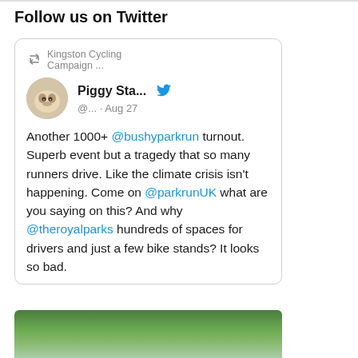Follow us on Twitter
[Figure (screenshot): Embedded tweet from Kingston Cycling Campaign retweeted by Piggy Sta... (@...) on Aug 27. Tweet text: Another 1000+ @bushyparkrun turnout. Superb event but a tragedy that so many runners drive. Like the climate crisis isn't happening. Come on @parkrunUK what are you saying on this? And why @theroyalparks hundreds of spaces for drivers and just a few bike stands? It looks so bad.]
[Figure (photo): Partial photo preview at bottom showing trees and sky]